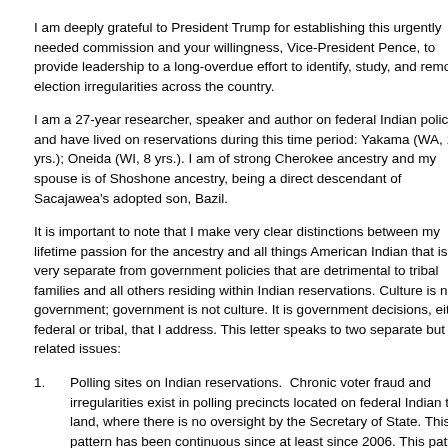I am deeply grateful to President Trump for establishing this urgently needed commission and your willingness, Vice-President Pence, to provide leadership to a long-overdue effort to identify, study, and remove election irregularities across the country.
I am a 27-year researcher, speaker and author on federal Indian policy is and have lived on reservations during this time period: Yakama (WA, 16 yrs.); Oneida (WI, 8 yrs.). I am of strong Cherokee ancestry and my spouse is of Shoshone ancestry, being a direct descendant of Sacajawea's adopted son, Bazil.
It is important to note that I make very clear distinctions between my lifetime passion for the ancestry and all things American Indian that is very separate from government policies that are detrimental to tribal families and all others residing within Indian reservations. Culture is not government; government is not culture. It is government decisions, either federal or tribal, that I address. This letter speaks to two separate but related issues:
1.   Polling sites on Indian reservations.  Chronic voter fraud and irregularities exist in polling precincts located on federal Indian trust land, where there is no oversight by the Secretary of State. This pattern has been continuous since at least since 2006. This pattern is exactly how Senator Jon Tester became the 51st Senator in 2007, and
Your Commission received a full report specific to Big Horn County, Montana. I will report in an anecdotal manner, and further detail upon request, that the same pattern as the Reservation occurs on other reservations in Montana, as well as Washington, Nebraska, while I am aware the same situation occurs on at least a dozen